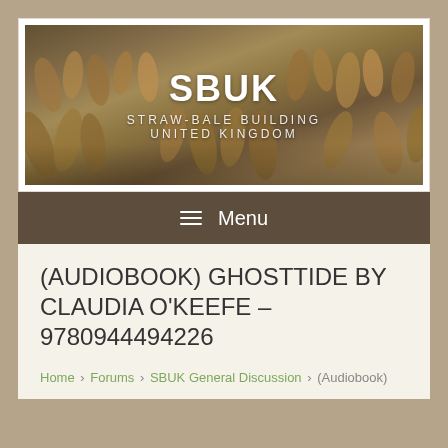[Figure (photo): SBUK (Straw-Bale Building United Kingdom) website banner with wheat/grain field photo background and white text overlay showing SBUK and STRAW-BALE BUILDING UNITED KINGDOM]
≡ Menu
(AUDIOBOOK) GHOSTTIDE BY CLAUDIA O'KEEFE – 9780944494226
Home › Forums › SBUK General Discussion › (Audiobook)